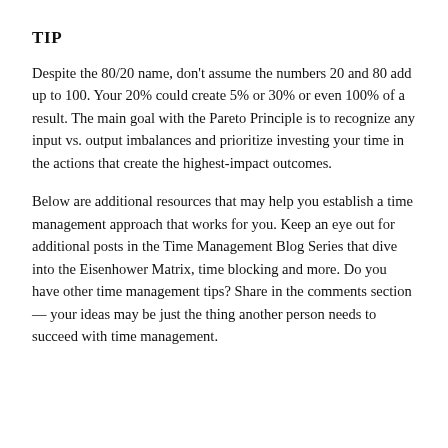TIP
Despite the 80/20 name, don’t assume the numbers 20 and 80 add up to 100. Your 20% could create 5% or 30% or even 100% of a result. The main goal with the Pareto Principle is to recognize any input vs. output imbalances and prioritize investing your time in the actions that create the highest-impact outcomes.
Below are additional resources that may help you establish a time management approach that works for you. Keep an eye out for additional posts in the Time Management Blog Series that dive into the Eisenhower Matrix, time blocking and more. Do you have other time management tips? Share in the comments section — your ideas may be just the thing another person needs to succeed with time management.